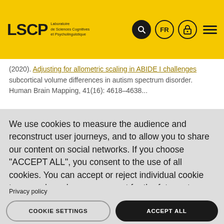LSCP Laboratoire de Sciences Cognitives et Psycholinguistique
(2020). Adjusting for allometric scaling in ABIDE I challenges subcortical volume differences in autism spectrum disorder. Human Brain Mapping, 41(16): 4618–4638
We use cookies to measure the audience and reconstruct user journeys, and to allow you to share our content on social networks. If you choose "ACCEPT ALL", you consent to the use of all cookies. You can accept or reject individual cookie types and revoke your consent for the future at any time under "Settings".
Privacy policy
Cookie Policy
COOKIE SETTINGS
ACCEPT ALL